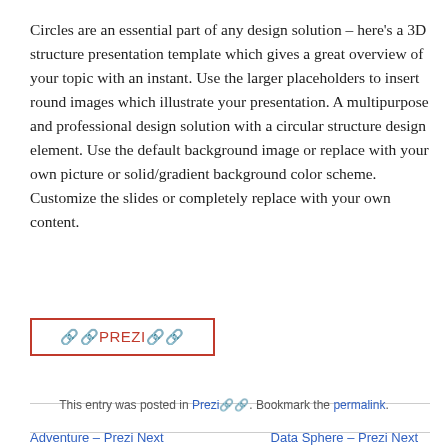Circles are an essential part of any design solution – here's a 3D structure presentation template which gives a great overview of your topic with an instant. Use the larger placeholders to insert round images which illustrate your presentation. A multipurpose and professional design solution with a circular structure design element. Use the default background image or replace with your own picture or solid/gradient background color scheme. Customize the slides or completely replace with your own content.
[Figure (other): Red-bordered button with text '🔗PREZI🔗']
This entry was posted in Prezi🔗. Bookmark the permalink.
Adventure – Prezi Next
Data Sphere – Prezi Next